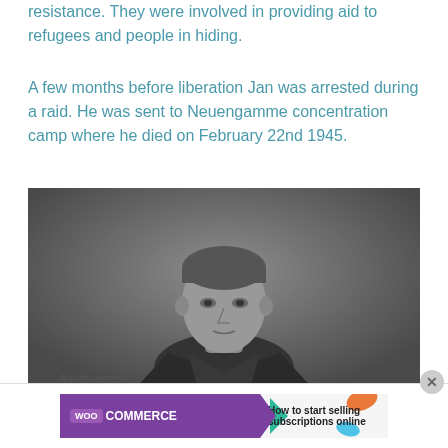resistance. They were involved in providing aid to refugees and people in hiding.
A few months before liberation Jan was arrested during a raid. He was sent to Neuengamme concentration camp where he died on February 22nd 1945.
[Figure (photo): Black and white photograph of a young man with short light hair, looking directly at the camera, wearing a dark shirt or jacket.]
Advertisements
[Figure (screenshot): WooCommerce advertisement banner: purple background with WooCommerce logo and text 'How to start selling subscriptions online']